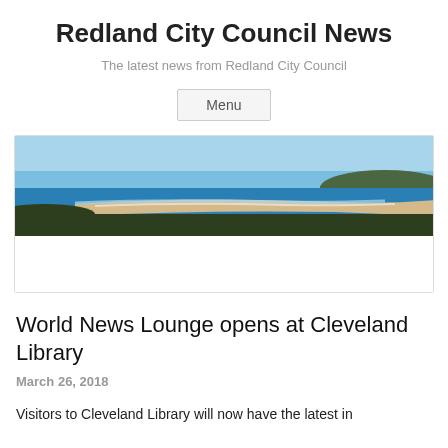Redland City Council News
The latest news from Redland City Council
Menu
[Figure (photo): Aerial coastal panorama showing beach, blue ocean, and green headland under clear sky — header image for Redland City Council News]
World News Lounge opens at Cleveland Library
March 26, 2018
Visitors to Cleveland Library will now have the latest in